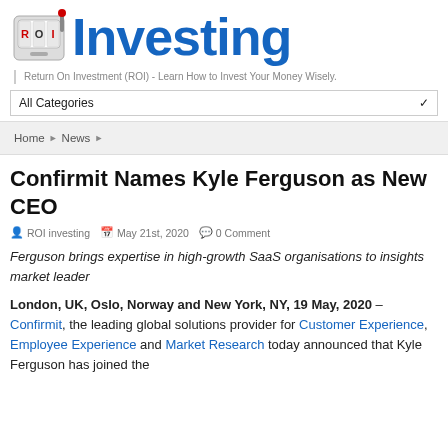[Figure (logo): ROI Investing logo with slot machine graphic showing ROI letters and blue 'Investing' text]
Return On Investment (ROI) - Learn How to Invest Your Money Wisely.
All Categories
Home ▶ News ▶
Confirmit Names Kyle Ferguson as New CEO
ROI investing   May 21st, 2020   0 Comment
Ferguson brings expertise in high-growth SaaS organisations to insights market leader
London, UK, Oslo, Norway and New York, NY, 19 May, 2020 – Confirmit, the leading global solutions provider for Customer Experience, Employee Experience and Market Research today announced that Kyle Ferguson has joined the